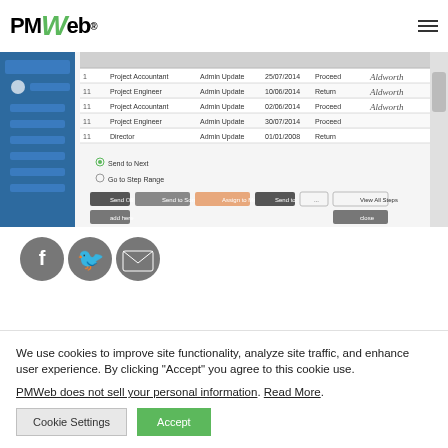[Figure (logo): PMWeb logo with green stylized W]
[Figure (screenshot): PMWeb application screenshot showing a data table with workflow steps at the bottom, with a dark blue left sidebar navigation]
[Figure (illustration): Three circular social media icon buttons: Facebook (f), Twitter (bird), and Email (envelope), in gray]
We use cookies to improve site functionality, analyze site traffic, and enhance user experience. By clicking "Accept" you agree to this cookie use.
PMWeb does not sell your personal information. Read More.